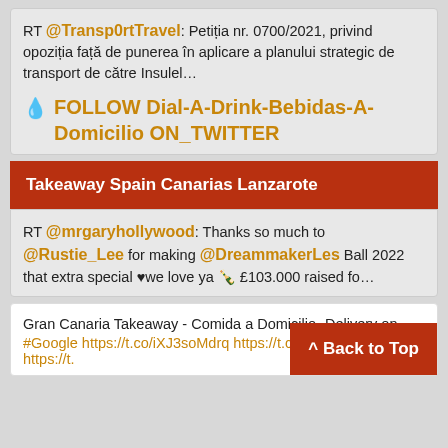RT @Transp0rtTravel: Petiția nr. 0700/2021, privind opoziția față de punerea în aplicare a planului strategic de transport de către Insulel…
💧 FOLLOW Dial-A-Drink-Bebidas-A-Domicilio ON_TWITTER
Takeaway Spain Canarias Lanzarote
RT @mrgaryhollywood: Thanks so much to @Rustie_Lee for making @DreammakerLes Ball 2022 that extra special ♥we love ya 🍾 £103.000 raised fo…
Gran Canaria Takeaway - Comida a Domicilio -Delivery on #Google https://t.co/iXJ3soMdrq https://t.co/MzMBbv2146 https://t.